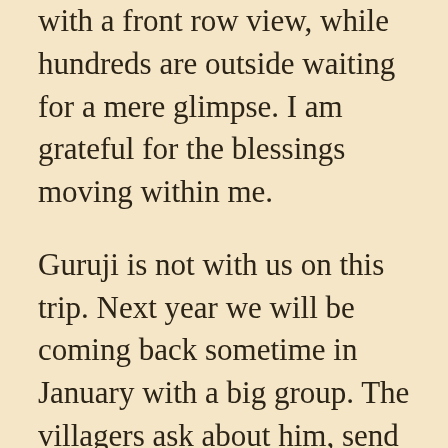with a front row view, while hundreds are outside waiting for a mere glimpse. I am grateful for the blessings moving within me.
Guruji is not with us on this trip. Next year we will be coming back sometime in January with a big group. The villagers ask about him, send him love and acknowledge the impact he has had on the village since we first began making these trips. They miss him and are eager to have his Darshan. Anjali and I make